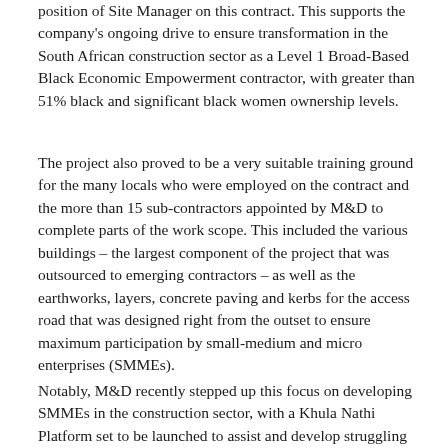position of Site Manager on this contract. This supports the company's ongoing drive to ensure transformation in the South African construction sector as a Level 1 Broad-Based Black Economic Empowerment contractor, with greater than 51% black and significant black women ownership levels.
The project also proved to be a very suitable training ground for the many locals who were employed on the contract and the more than 15 sub-contractors appointed by M&D to complete parts of the work scope. This included the various buildings – the largest component of the project that was outsourced to emerging contractors – as well as the earthworks, layers, concrete paving and kerbs for the access road that was designed right from the outset to ensure maximum participation by small-medium and micro enterprises (SMMEs).
Notably, M&D recently stepped up this focus on developing SMMEs in the construction sector, with a Khula Nathi Platform set to be launched to assist and develop struggling smaller companies to still participate in the economy and create jobs